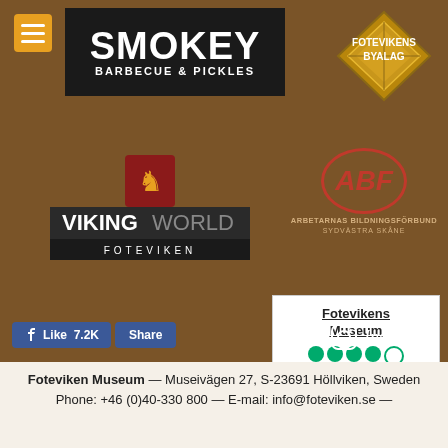[Figure (logo): Hamburger menu icon on orange/yellow background]
[Figure (logo): Smokey Barbecue & Pickles logo on dark background]
[Figure (logo): Fotevikens Byalag diamond/rhombus logo in gold and red]
[Figure (logo): Viking World Foteviken logo with lion crest]
[Figure (logo): ABF Arbetarnas Bildningsförbund Sydvästra Skåne logo]
[Figure (infographic): Tripadvisor widget for Fotevikens Museum showing 4 out of 5 green circles and 121 reviews]
[Figure (logo): Facebook Like 7.2K and Share buttons]
[Figure (logo): Instagram icon and text]
Foteviken Museum — Museivägen 27, S-23691 Höllviken, Sweden
Phone: +46 (0)40-330 800 — E-mail: info@foteviken.se —